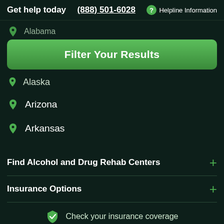Get help today  (888) 501-6028  ? Helpline Information
Alabama
Filter Your Results
Alaska
Arizona
Arkansas
Find Alcohol and Drug Rehab Centers
Insurance Options
Check your insurance coverage